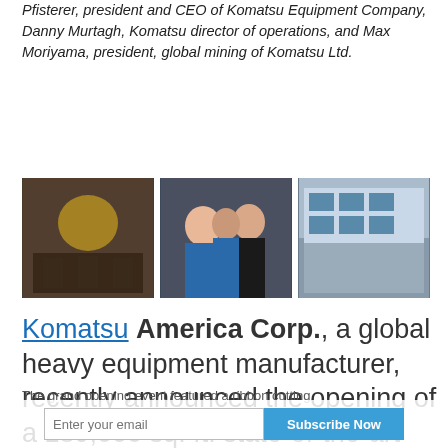Pfisterer, president and CEO of Komatsu Equipment Company, Danny Murtagh, Komatsu director of operations, and Max Moriyama, president, global mining of Komatsu Ltd.
[Figure (photo): Three side-by-side photos: left shows a crowded indoor event with yellow ribbon/equipment, center shows two women and a man posing at an event, right shows exterior of a modern building.]
Komatsu America Corp., a global heavy equipment manufacturer, recently announced the opening of a 189,000 sq. ft. state-of-the-art service center on 30 acres of land in Elko, Nev.
The grand opening event featured a ribbon cutting